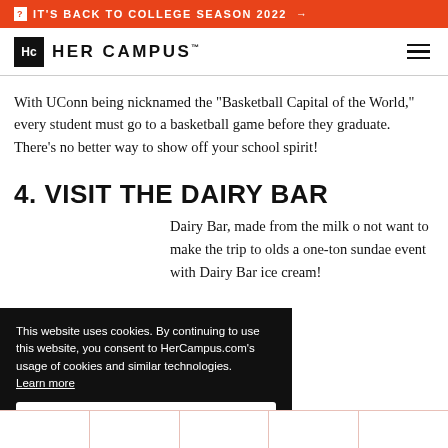IT'S BACK TO COLLEGE SEASON 2022 →
[Figure (logo): HerCampus logo with Hc icon and HER CAMPUS wordmark, plus hamburger menu icon]
With UConn being nicknamed the "Basketball Capital of the World," every student must go to a basketball game before they graduate. There's no better way to show off your school spirit!
4. VISIT THE DAIRY BAR
Dairy Bar, made from the milk o not want to make the trip to olds a one-ton sundae event with Dairy Bar ice cream!
This website uses cookies. By continuing to use this website, you consent to HerCampus.com's usage of cookies and similar technologies. Learn more